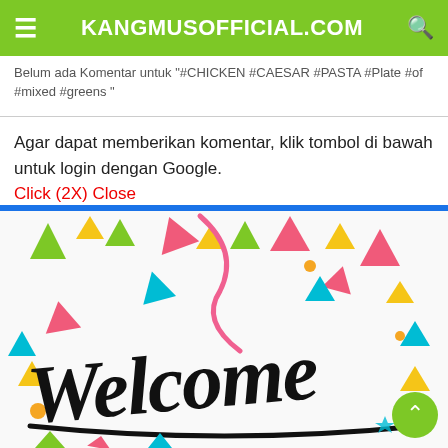KANGMUSOFFICIAL.COM
Belum ada Komentar untuk "#CHICKEN #CAESAR #PASTA #Plate #of #mixed #greens "
Agar dapat memberikan komentar, klik tombol di bawah untuk login dengan Google.
Click (2X) Close
[Figure (illustration): Welcome illustration with colorful confetti triangles and black script lettering spelling 'Welcome' on a white background]